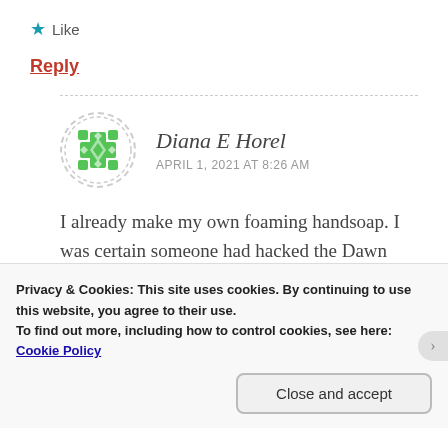★ Like
Reply
[Figure (illustration): Circular avatar with dashed border containing a green geometric/ornamental pattern icon for user Diana E Horel]
Diana E Horel
APRIL 1, 2021 AT 8:26 AM
I already make my own foaming handsoap. I was certain someone had hacked the Dawn Powerspray and glad
Privacy & Cookies: This site uses cookies. By continuing to use this website, you agree to their use.
To find out more, including how to control cookies, see here:
Cookie Policy
Close and accept